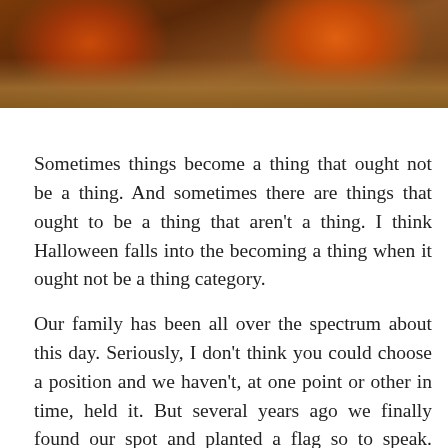[Figure (photo): Top portion of a photo showing orange pumpkins on hay/straw, cropped at the bottom of the image strip]
Sometimes things become a thing that ought not be a thing. And sometimes there are things that ought to be a thing that aren't a thing. I think Halloween falls into the becoming a thing when it ought not be a thing category.
Our family has been all over the spectrum about this day. Seriously, I don't think you could choose a position and we haven't, at one point or other in time, held it. But several years ago we finally found our spot and planted a flag so to speak. Before I tell you about our particular way of dealing with this day let me share two things that I think